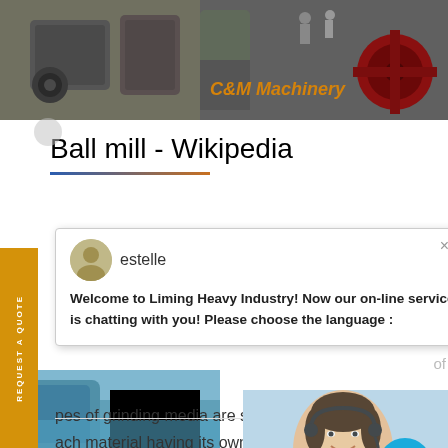[Figure (photo): Header image showing industrial machinery (ball mills/crushers) at a factory site with C&M Machinery logo text in orange]
Ball mill - Wikipedia
[Figure (screenshot): Live chat popup from Liming Heavy Industry with avatar named 'estelle', showing message: Welcome to Liming Heavy Industry! Now our on-line service is chatting with you! Please choose the language :]
pes of grinding media are suitable ach material having its own specific dvantages. Key properties of grindi ensity, hardness, and composition.
[Figure (photo): Customer service representative photo (woman with headset, smiling) with blue notification badge showing number 1]
[Figure (infographic): Dark navy panel with italic text 'Have any requests, click here.' and orange Quotation button below]
[Figure (photo): Partial bottom image showing industrial equipment in blue tones]